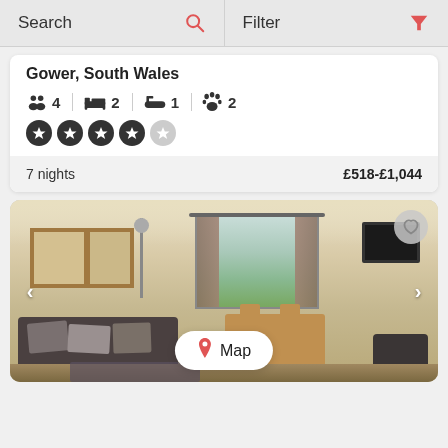Search   Filter
Gower, South Wales
4 guests | 2 bedrooms | 1 bathroom | 2 pets
4 stars (4 out of 5)
7 nights   £518-£1,044
[Figure (photo): Interior photo of a holiday cottage living room with sofas, dining area, French doors, and a TV on the wall. Navigation arrows on left and right. A 'Map' button overlay at the bottom center. A favourite (heart) button in the top right corner.]